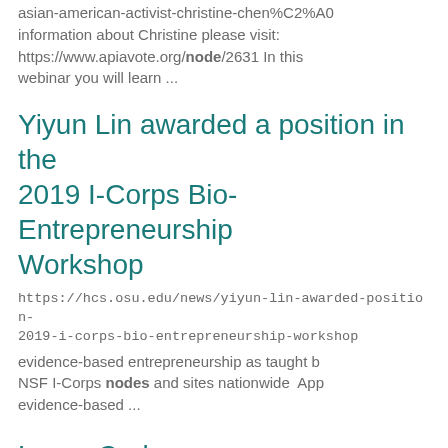asian-american-activist-christine-chen%C2%A0 information about Christine please visit: https://www.apiavote.org/node/2631 In this webinar you will learn ...
Yiyun Lin awarded a position in the 2019 I-Corps Bio-Entrepreneurship Workshop
https://hcs.osu.edu/news/yiyun-lin-awarded-position-2019-i-corps-bio-entrepreneurship-workshop
evidence-based entrepreneurship as taught by NSF I-Corps nodes and sites nationwide Applying evidence-based ...
Large Crabgrass